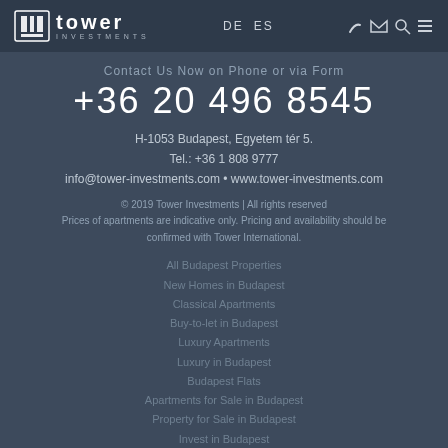Tower Investments — DE ES — navigation icons
Contact Us Now on Phone or via Form
+36 20 496 8545
H-1053 Budapest, Egyetem tér 5.
Tel.: +36 1 808 9777
info@tower-investments.com • www.tower-investments.com
© 2019 Tower Investments | All rights reserved
Prices of apartments are indicative only. Pricing and availability should be confirmed with Tower International.
All Budapest Properties
New Homes in Budapest
Classical Apartments
Buy-to-let in Budapest
Luxury Apartments
Luxury in Budapest
Budapest Flats
Apartments for Sale in Budapest
Property for Sale in Budapest
Invest in Budapest
Invest in Hungary
Budapest Property Investments